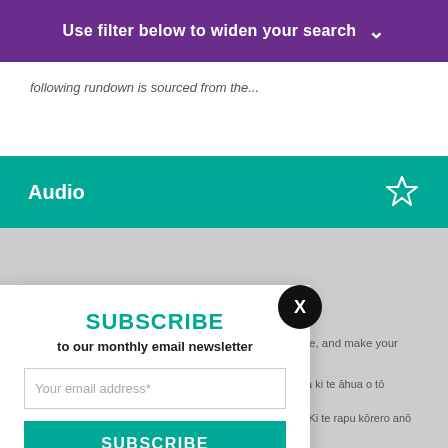Use filter below to widen your search
following rundown is sourced from the...
Audio
[Figure (screenshot): Gray placeholder image area with a loading spinner arc visible]
how you use our site, and make your experience
cy policy.
te rapu māramatanga ki te āhua o tō whakamahi
i i tō whai wāhi mai. Ki te rapu kōrero anō
SUBSCRIBE
to our monthly email newsletter
Your email address*
SUBSCRIBE
View previous newsletters.